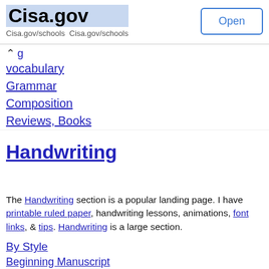Cisa.gov
Cisa.gov/schools Cisa.gov/schools
Open
vocabulary
Grammar
Composition
Reviews, Books
Handwriting
The Handwriting section is a popular landing page. I have printable ruled paper, handwriting lessons, animations, font links, & tips. Handwriting is a large section.
By Style
Beginning Manuscript